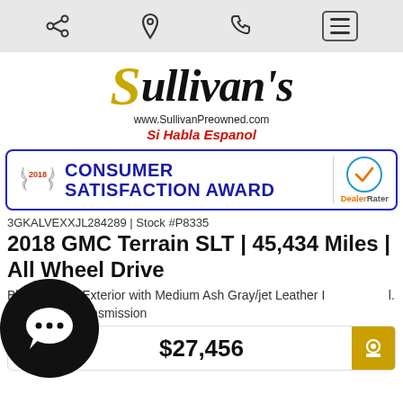Navigation bar with share, location, phone icons and menu button
[Figure (logo): Sullivan's dealership logo with stylized yellow S, script text 'ullivan's', website www.SullivanPreowned.com, and tagline Si Habla Espanol]
[Figure (infographic): 2018 Consumer Satisfaction Award banner with DealerRater logo and blue checkmark]
3GKALVEXXJL284289 | Stock #P8335
2018 GMC Terrain SLT | 45,434 Miles | All Wheel Drive
Blu[e] [Met]allic Exterior with Medium Ash Gray/jet Leather I[nterior Viny]l. | Automatic Transmission
$27,456